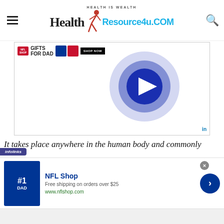[Figure (logo): Health Resource4u.COM website logo with tagline HEALTH IS WEALTH and a running figure graphic]
[Figure (screenshot): NFL Shop advertisement banner with jerseys, GIFTS FOR DAD text, SHOP NOW button, and blue circle play button overlay, with LinkedIn icon]
It takes place anywhere in the human body and commonly
[Figure (screenshot): Infolinks and NFL Shop advertisement: Free shipping on orders over $25, www.nflshop.com, with jersey image and blue arrow button]